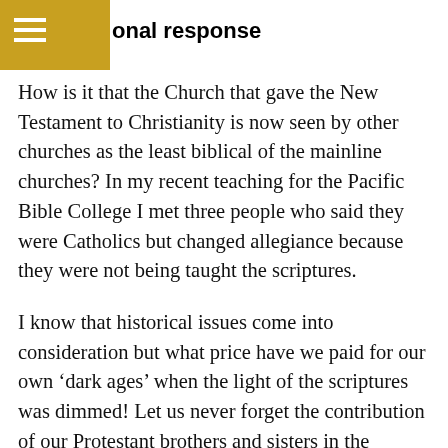onal response
How is it that the Church that gave the New Testament to Christianity is now seen by other churches as the least biblical of the mainline churches? In my recent teaching for the Pacific Bible College I met three people who said they were Catholics but changed allegiance because they were not being taught the scriptures.
I know that historical issues come into consideration but what price have we paid for our own ‘dark ages’ when the light of the scriptures was dimmed! Let us never forget the contribution of our Protestant brothers and sisters in the biblical field who kept, and still keep, the light of biblical scholarship blazing for us until we were free to pick it up again and contribute to it. Let us pray and work so that our pastors and teachers can bring this light to a people that can once again claim their own heritage as a people of the book, the word and sacrament.